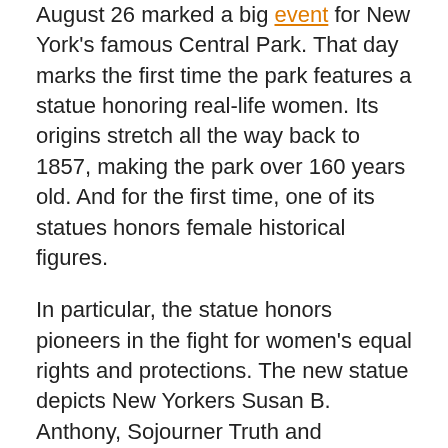August 26 marked a big event for New York's famous Central Park. That day marks the first time the park features a statue honoring real-life women. Its origins stretch all the way back to 1857, making the park over 160 years old. And for the first time, one of its statues honors female historical figures.
In particular, the statue honors pioneers in the fight for women's equal rights and protections. The new statue depicts New Yorkers Susan B. Anthony, Sojourner Truth and Elizabeth Cady Stanton. This marks a historically meaningful date for women in the U.S. overall, too, not just Central Park.
Central Park gets its first statue honoring real women